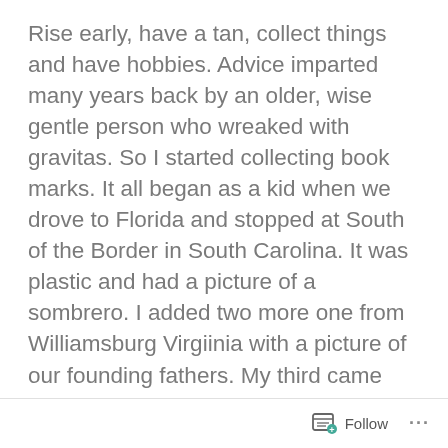Rise early, have a tan, collect things and have hobbies. Advice imparted many years back by an older, wise gentle person who wreaked with gravitas. So I started collecting book marks. It all began as a kid when we drove to Florida and stopped at South of the Border in South Carolina. It was plastic and had a picture of a sombrero. I added two more one from Williamsburg Virgiinia with a picture of our founding fathers. My third came from a school trip to Old Museum Village in Monroe, New York. That one I clipped to the top of the page of my Nancy Drew
Follow ···